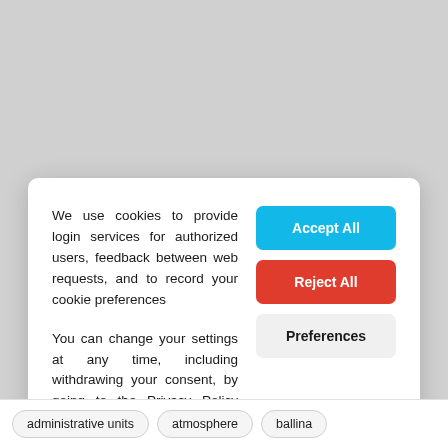We use cookies to provide login services for authorized users, feedback between web requests, and to record your cookie preferences
You can change your settings at any time, including withdrawing your consent, by going to the Privacy Policy page of this site.
Accept All
Reject All
Preferences
administrative units   atmosphere   ballina